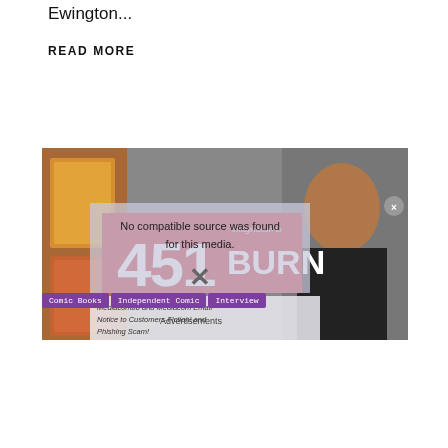Ewington...
READ MORE
[Figure (screenshot): Video player showing '451 imagination to BURN' banner with comic book covers on left and a bald man in black shirt on right. Overlaid with 'No compatible source was found for this media.' error message and an advertisement popup about Mediacombb and Mediacom Email Notice to Customers-Fiction! and Phishing Scam!]
Comic Books | Independent Comic | Interview
Advertisements